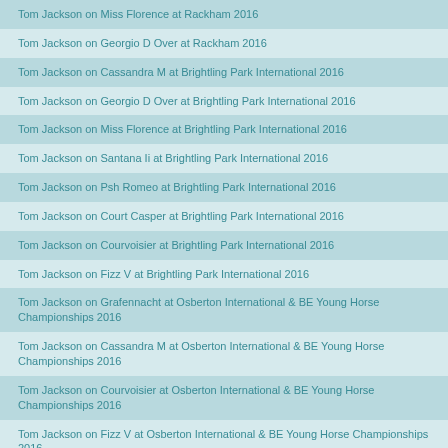Tom Jackson on Miss Florence at Rackham 2016
Tom Jackson on Georgio D Over at Rackham 2016
Tom Jackson on Cassandra M at Brightling Park International 2016
Tom Jackson on Georgio D Over at Brightling Park International 2016
Tom Jackson on Miss Florence at Brightling Park International 2016
Tom Jackson on Santana Ii at Brightling Park International 2016
Tom Jackson on Psh Romeo at Brightling Park International 2016
Tom Jackson on Court Casper at Brightling Park International 2016
Tom Jackson on Courvoisier at Brightling Park International 2016
Tom Jackson on Fizz V at Brightling Park International 2016
Tom Jackson on Grafennacht at Osberton International & BE Young Horse Championships 2016
Tom Jackson on Cassandra M at Osberton International & BE Young Horse Championships 2016
Tom Jackson on Courvoisier at Osberton International & BE Young Horse Championships 2016
Tom Jackson on Fizz V at Osberton International & BE Young Horse Championships 2016
Tom Jackson on Santana Ii at Osberton International & BE Young Horse Championships 2016